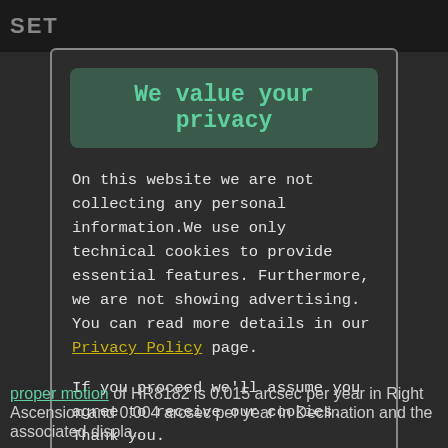SET
We value your privacy
On this website we are not collecting any personal information.We use only technical cookies to provide essential features. Furthermore, we are not showing advertising. You can read more details in our Privacy Policy page.
If you proceed we'll assume you agree to receive our cookies. Thank you.
Proceed to TheSkyLive.com
proper motion of HR8182 is 0.015 arcsec per year in Right Ascension and 0.004 arcsec per year in Declination and the associated displacement...